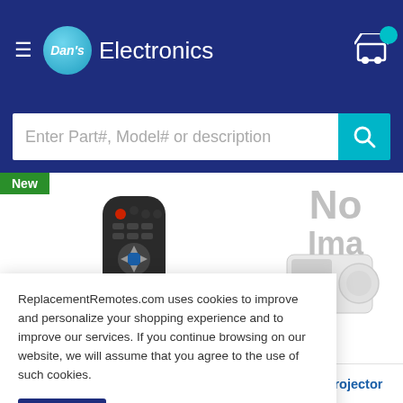Dan's Electronics
Enter Part#, Model# or description
[Figure (photo): Black TV universal remote control (RRU401.5 with Macro) with multiple buttons]
[Figure (photo): Projector product image (1800MP Projector) - No Image placeholder]
ReplacementRemotes.com uses cookies to improve and personalize your shopping experience and to improve our services. If you continue browsing on our website, we will assume that you agree to the use of such cookies.
Accept
RRU401.5 with Macro and
1800MP Projector